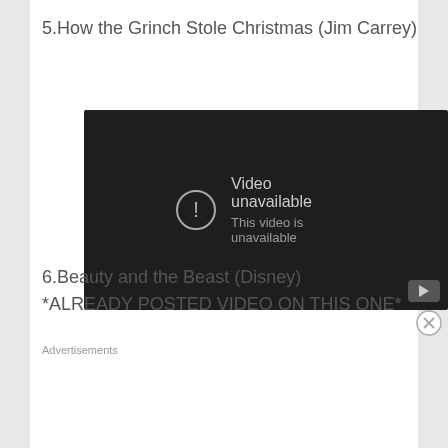5.How the Grinch Stole Christmas (Jim Carrey)
[Figure (screenshot): YouTube embedded video player showing 'Video unavailable - This video is unavailable' error message on dark background with YouTube icon in bottom right corner]
6.Beauty and the Beast (Disney)
*ALREADY POSTED VIDEO ON THIS ONE*
Advertisements
[Figure (infographic): Tumblr Ad-Free Browsing advertisement banner showing $39.99 a year or $4.99 a month pricing on a blue gradient background with Tumblr logo and sparkle stars]